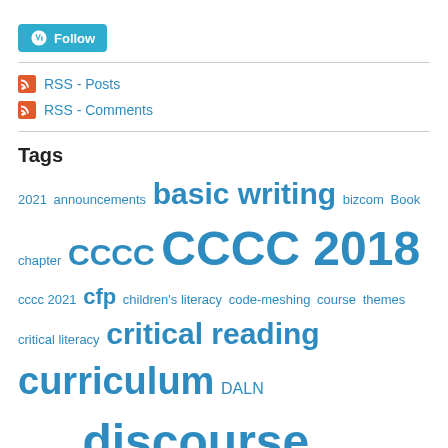[Figure (other): WordPress Follow button with W logo]
RSS - Posts
RSS - Comments
Tags
2021 announcements basic writing bizcom Book chapter CCCC CCCC 2018 cccc 2021 cfp children's literacy code-meshing course themes critical literacy critical reading curriculum DALN Deadlines discourse community Donald Murray emotion esl faculty resistance featured first year composition five